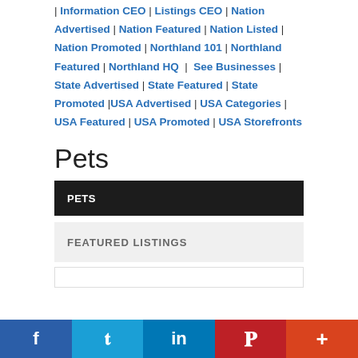| Information CEO | Listings CEO | Nation Advertised | Nation Featured | Nation Listed | Nation Promoted | Northland 101 | Northland Featured | Northland HQ | See Businesses | State Advertised | State Featured | State Promoted |USA Advertised | USA Categories | USA Featured | USA Promoted | USA Storefronts
Pets
PETS
FEATURED LISTINGS
f  t  in  P  +